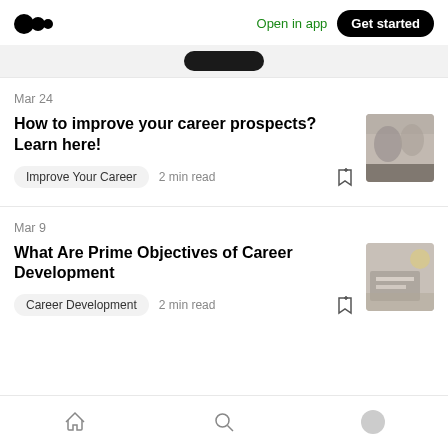Open in app  Get started
Mar 24
How to improve your career prospects? Learn here!
Improve Your Career  2 min read
[Figure (photo): Thumbnail image for career prospects article showing people in professional setting]
Mar 9
What Are Prime Objectives of Career Development
Career Development  2 min read
[Figure (photo): Thumbnail image for career development article showing person at laptop/desk]